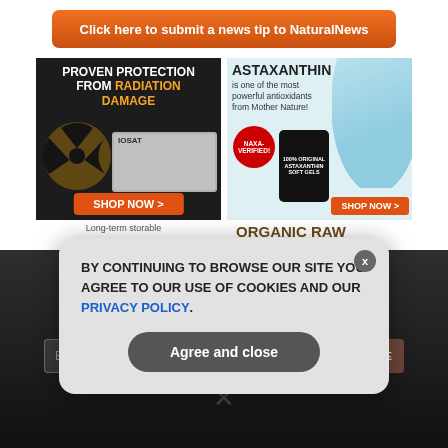[Figure (other): Orange rounded button: 'Click here to submit a news tip to NaturalNews']
[Figure (other): Ad banner: PROVEN PROTECTION FROM RADIATION DAMAGE with radiation symbol and IOSAT pills, SHOP NOW button]
[Figure (other): Ad banner: ASTAXANTHIN is one of the most powerful antioxidants from Mother Nature! with NAXA-VERIFIED badge, product bottle, woman with weights, SHOP NOW button]
Long-term storable
ORGANIC RAW
GET THE WORLD'S BEST NATURAL HEALTH NEWSLETTER DELIVERED STRAIGHT TO YOUR INBOX
Enter Your Email Address
SUBSCRIBE
BY CONTINUING TO BROWSE OUR SITE YOU AGREE TO OUR USE OF COOKIES AND OUR PRIVACY POLICY.
Agree and close